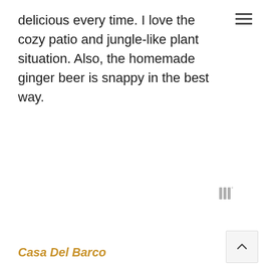delicious every time. I love the cozy patio and jungle-like plant situation. Also, the homemade ginger beer is snappy in the best way.
Casa Del Barco